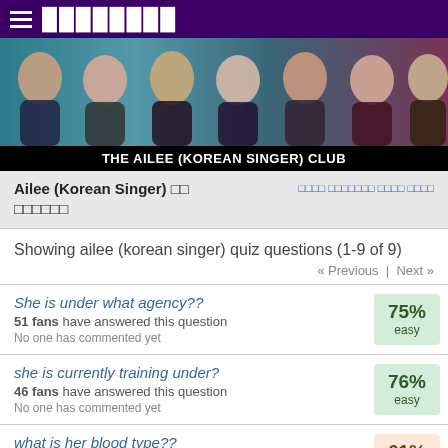≡ ████████
[Figure (photo): Photo strip showing multiple poses of Ailee (Korean singer) against a colorful background]
THE AILEE (KOREAN SINGER) CLUB
Ailee (Korean Singer) □□ □□□□□□
□□□□ □□□□□□□ □□□□ □□□□
Showing ailee (korean singer) quiz questions (1-9 of 9)
« Previous  |  Next »
She is under what agency??
51 fans have answered this question
No one has commented yet
75% easy
she is currently training under?
46 fans have answered this question
No one has commented yet
76% easy
what is her blood type??
41 fans have answered this question
No one has commented yet
61% medium
when was Ailee's □□□□□ of birth?